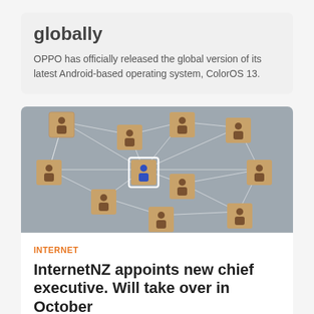globally
OPPO has officially released the global version of its latest Android-based operating system, ColorOS 13.
[Figure (photo): Wooden blocks with human figure icons connected by white lines on a gray background, representing a network. One central block has a blue figure icon highlighted.]
INTERNET
InternetNZ appoints new chief executive. Will take over in October
InternetNZ has announced the